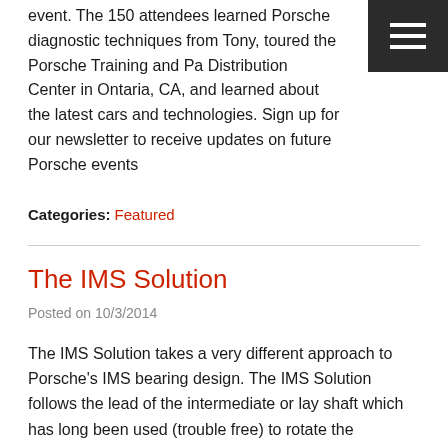event. The 150 attendees learned Porsche diagnostic techniques from Tony, toured the Porsche Training and Parts Distribution Center in Ontaria, CA, and learned about the latest cars and technologies. Sign up for our newsletter to receive updates on future Porsche events
Categories: Featured
The IMS Solution
Posted on 10/3/2014
The IMS Solution takes a very different approach to Porsche's IMS bearing design. The IMS Solution follows the lead of the intermediate or lay shaft which has long been used (trouble free) to rotate the camshafts (via chains) in all Porsche horizontally opposed Boxer type overhead cam air/oil cooled engines. This basic design was first used in 1956 with Ernst